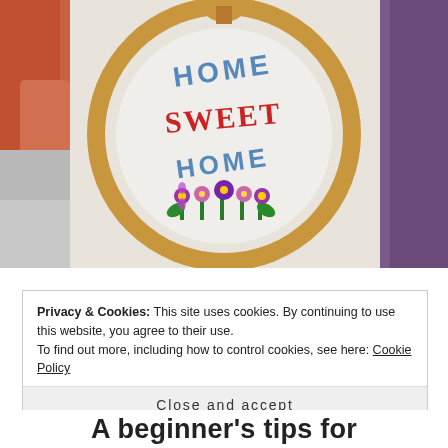[Figure (photo): Close-up photo of a cross-stitch embroidery hoop showing 'Home Sweet Home' text with flowers, placed on colorful fabric. The hoop has a wooden frame and the fabric shows cross-stitch work in blue, red, green, and purple threads.]
Privacy & Cookies: This site uses cookies. By continuing to use this website, you agree to their use.
To find out more, including how to control cookies, see here: Cookie Policy
Close and accept
A beginner's tips for